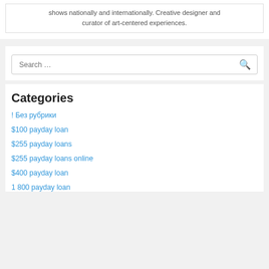shows nationally and internationally. Creative designer and curator of art-centered experiences.
Search …
Categories
! Без рубрики
$100 payday loan
$255 payday loans
$255 payday loans online
$400 payday loan
1 800 payday loan